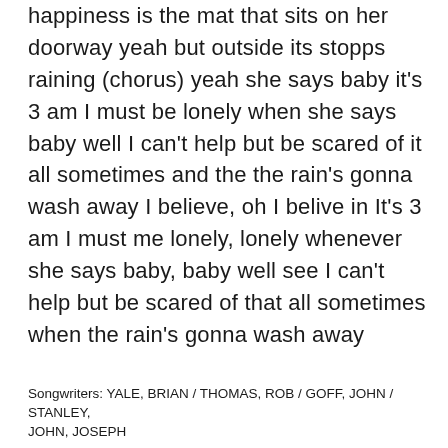but outside its stopps raining (chorus) yeah she says baby it's 3 am I must be lonely when she says baby well I can't help but be scared of it all sometimes and the the rain's gonna wash away I believe, oh I belive in It's 3 am I must me lonely, lonely whenever she says baby, baby well see I can't help but be scared of that all sometimes when the rain's gonna wash away
Songwriters: YALE, BRIAN / THOMAS, ROB / GOFF, JOHN / STANLEY, JOHN, JOSEPH